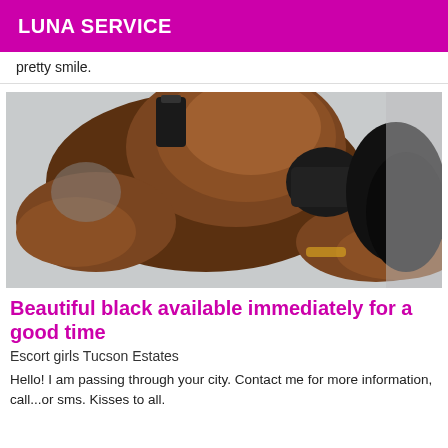LUNA SERVICE
pretty smile.
[Figure (photo): Photo of a person posing, cropped torso view with dark skin, wearing dark lingerie, lying on a surface.]
Beautiful black available immediately for a good time
Escort girls Tucson Estates
Hello! I am passing through your city. Contact me for more information, call...or sms. Kisses to all.